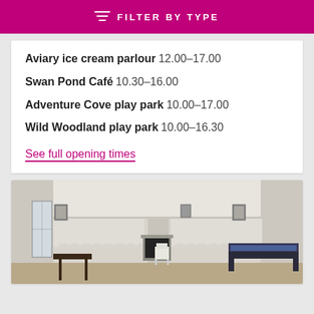FILTER BY TYPE
Aviary ice cream parlour  12.00–17.00
Swan Pond Café  10.30–16.00
Adventure Cove play park  10.00–17.00
Wild Woodland play park  10.00–16.30
See full opening times
[Figure (photo): Interior room photo showing a large, bright room with white walls, decorative curtains, dark wood furniture including a side table and bench/settee, a fireplace in the center background, and framed pictures on the walls.]